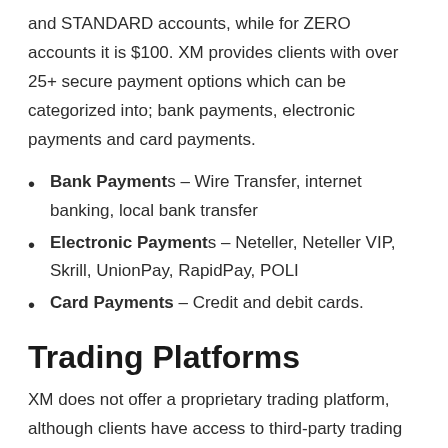and STANDARD accounts, while for ZERO accounts it is $100. XM provides clients with over 25+ secure payment options which can be categorized into; bank payments, electronic payments and card payments.
Bank Payments – Wire Transfer, internet banking, local bank transfer
Electronic Payments – Neteller, Neteller VIP, Skrill, UnionPay, RapidPay, POLI
Card Payments – Credit and debit cards.
Trading Platforms
XM does not offer a proprietary trading platform, although clients have access to third-party trading platforms such